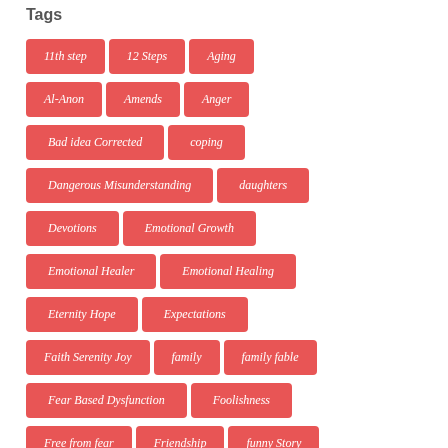Tags
11th step
12 Steps
Aging
Al-Anon
Amends
Anger
Bad idea Corrected
coping
Dangerous Misunderstanding
daughters
Devotions
Emotional Growth
Emotional Healer
Emotional Healing
Eternity Hope
Expectations
Faith Serenity Joy
family
family fable
Fear Based Dysfunction
Foolishness
Free from fear
Friendship
funny Story